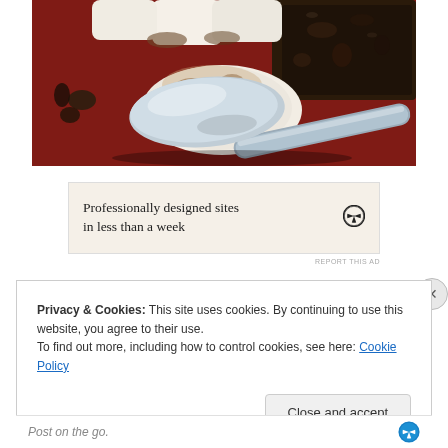[Figure (photo): Close-up photo of marshmallows being served with a metal spatula/pie server, with dark chocolate bark visible on the right, on a red surface dusted with cocoa]
[Figure (infographic): Advertisement banner with cream background showing WordPress logo and text: Professionally designed sites in less than a week]
REPORT THIS AD
Privacy & Cookies: This site uses cookies. By continuing to use this website, you agree to their use.
To find out more, including how to control cookies, see here: Cookie Policy
Close and accept
Post on the go.